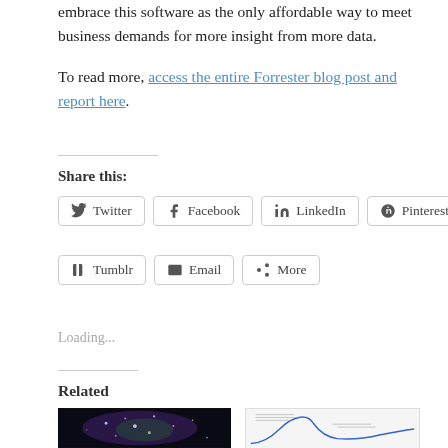embrace this software as the only affordable way to meet business demands for more insight from more data.
To read more, access the entire Forrester blog post and report here.
Share this:
Twitter
Facebook
LinkedIn
Pinterest
Tumblr
Email
More
Loading...
Related
[Figure (photo): Galaxy or nebula image with dark background and colorful cluster of stars/nebula]
[Figure (other): Gartner Hype Cycle style chart with a bell curve and labeled technologies]